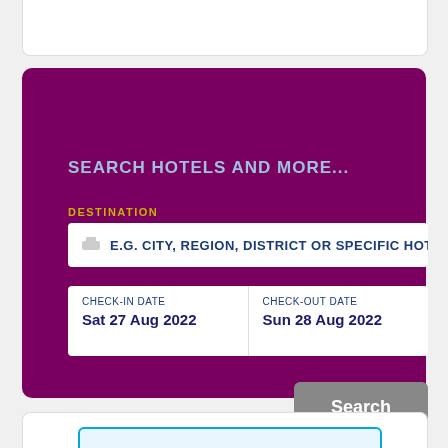[Figure (screenshot): Top portion of a white card, partially visible at top of page]
SEARCH HOTELS AND MORE...
DESTINATION
E.G. CITY, REGION, DISTRICT OR SPECIFIC HOTE
CHECK-IN DATE
Sat 27 Aug 2022
CHECK-OUT DATE
Sun 28 Aug 2022
Search
[Figure (logo): Booking.com logo — Booking in white, .com in blue]
[Figure (screenshot): Bottom card partially visible, light blue border, red bar graph element]